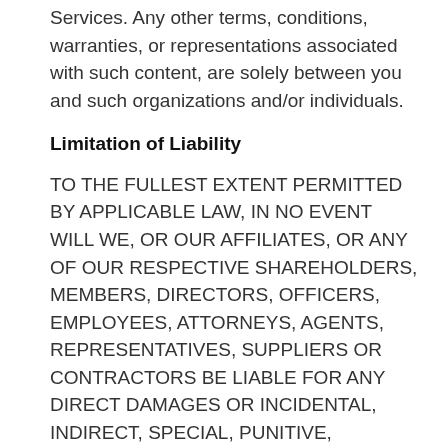Services. Any other terms, conditions, warranties, or representations associated with such content, are solely between you and such organizations and/or individuals.
Limitation of Liability
TO THE FULLEST EXTENT PERMITTED BY APPLICABLE LAW, IN NO EVENT WILL WE, OR OUR AFFILIATES, OR ANY OF OUR RESPECTIVE SHAREHOLDERS, MEMBERS, DIRECTORS, OFFICERS, EMPLOYEES, ATTORNEYS, AGENTS, REPRESENTATIVES, SUPPLIERS OR CONTRACTORS BE LIABLE FOR ANY DIRECT DAMAGES OR INCIDENTAL, INDIRECT, SPECIAL, PUNITIVE, CONSEQUENTIAL OR SIMILAR DAMAGES OR LIABILITIES WHATSOEVER (INCLUDING, WITHOUT LIMITATION, DAMAGES FOR LOSS OF DATA